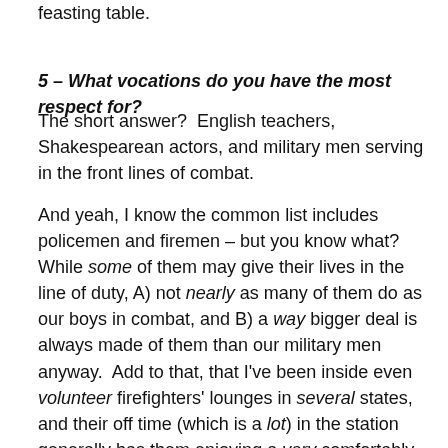feasting table.
5 – What vocations do you have the most respect for?
The short answer?  English teachers, Shakespearean actors, and military men serving in the front lines of combat.
And yeah, I know the common list includes policemen and firemen – but you know what?  While some of them may give their lives in the line of duty, A) not nearly as many of them do as our boys in combat, and B) a way bigger deal is always made of them than our military men anyway.  Add to that, that I've been inside even volunteer firefighters' lounges in several states, and their off time (which is a lot) in the station generally has them enjoying a very comfortably equipped lounge area – not any of our